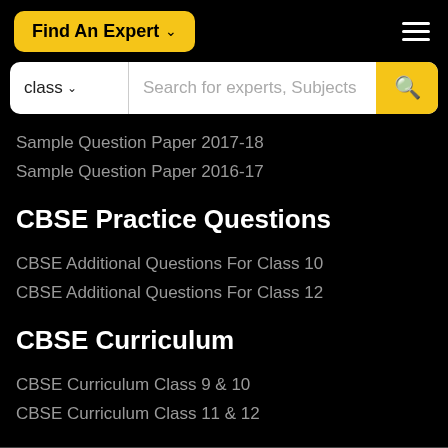Find An Expert ∨
[Figure (screenshot): Search bar with class dropdown and search input field with magnifying glass button]
Sample Question Paper 2017-18
Sample Question Paper 2016-17
CBSE Practice Questions
CBSE Additional Questions For Class 10
CBSE Additional Questions For Class 12
CBSE Curriculum
CBSE Curriculum Class 9 & 10
CBSE Curriculum Class 11 & 12